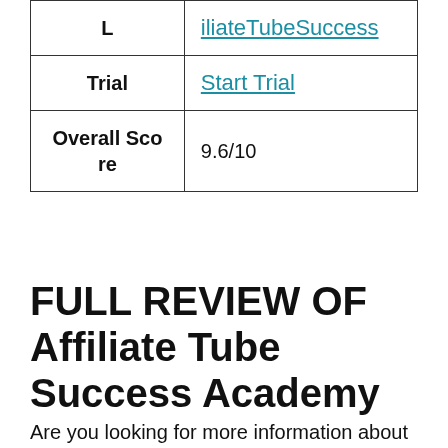| L | iliateTubeSuccess |
| Trial | Start Trial |
| Overall Score | 9.6/10 |
FULL REVIEW OF Affiliate Tube Success Academy
Are you looking for more information about